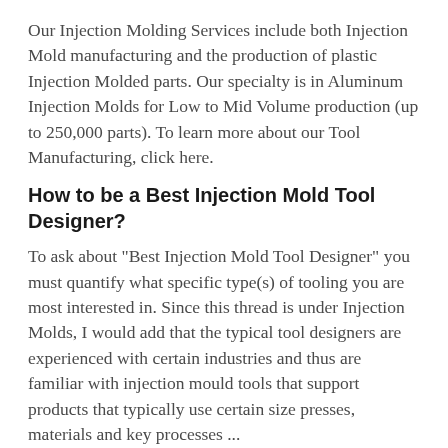Our Injection Molding Services include both Injection Mold manufacturing and the production of plastic Injection Molded parts. Our specialty is in Aluminum Injection Molds for Low to Mid Volume production (up to 250,000 parts). To learn more about our Tool Manufacturing, click here.
How to be a Best Injection Mold Tool Designer?
To ask about "Best Injection Mold Tool Designer" you must quantify what specific type(s) of tooling you are most interested in. Since this thread is under Injection Molds, I would add that the typical tool designers are experienced with certain industries and thus are familiar with injection mould tools that support products that typically use certain size presses, materials and key processes ...
Injection Molding & Tool Making Equipment - Quality